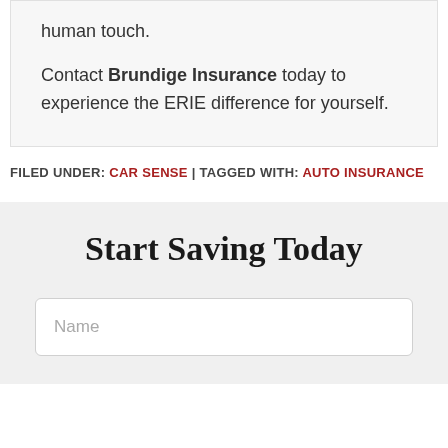human touch.
Contact Brundige Insurance today to experience the ERIE difference for yourself.
FILED UNDER: CAR SENSE | TAGGED WITH: AUTO INSURANCE
Start Saving Today
Name